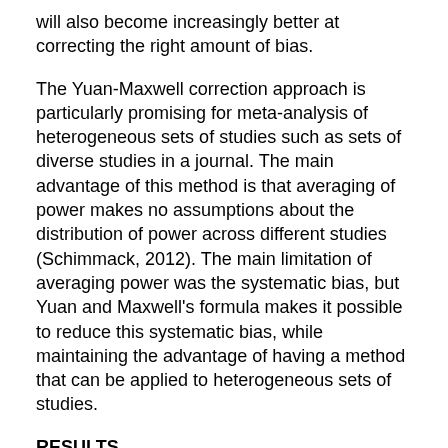will also become increasingly better at correcting the right amount of bias.
The Yuan-Maxwell correction approach is particularly promising for meta-analysis of heterogeneous sets of studies such as sets of diverse studies in a journal. The main advantage of this method is that averaging of power makes no assumptions about the distribution of power across different studies (Schimmack, 2012). The main limitation of averaging power was the systematic bias, but Yuan and Maxwell's formula makes it possible to reduce this systematic bias, while maintaining the advantage of having a method that can be applied to heterogeneous sets of studies.
RESULTS
Homogeneous Effect Sizes and Sample Sizes